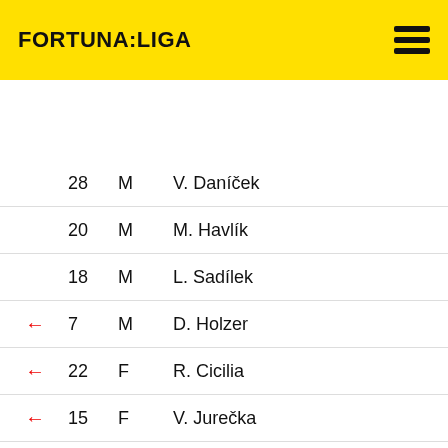FORTUNA:LIGA
|  | Number | Position | Name |
| --- | --- | --- | --- |
|  | 28 | M | V. Daníček |
|  | 20 | M | M. Havlík |
|  | 18 | M | L. Sadílek |
| ← | 7 | M | D. Holzer |
| ← | 22 | F | R. Cicilia |
| ← | 15 | F | V. Jurečka |
|  |  |  |  |
| → | 14 | D | J. Divíšek |
| → | 19 | D | J. Kalabiška |